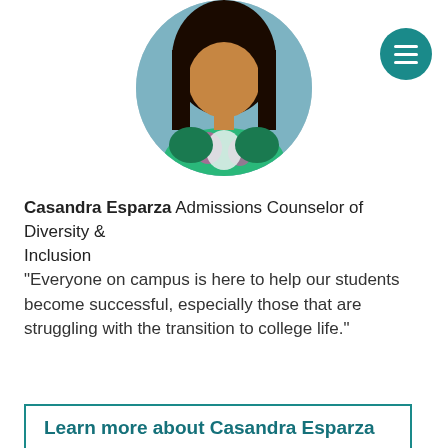[Figure (photo): Circular profile photo of Casandra Esparza, a woman with long dark hair wearing a colorful green and pink patterned top]
[Figure (other): Teal circular hamburger menu icon in top right corner]
Casandra Esparza Admissions Counselor of Diversity & Inclusion
"Everyone on campus is here to help our students become successful, especially those that are struggling with the transition to college life."
Learn more about Casandra Esparza
This website uses cookies to track information for analytics purposes. You can view the full University of Portland privacy policy for more information.